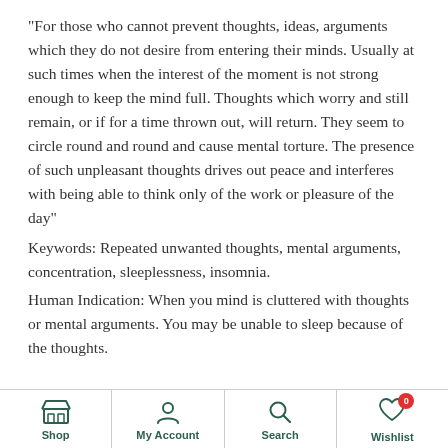"For those who cannot prevent thoughts, ideas, arguments which they do not desire from entering their minds. Usually at such times when the interest of the moment is not strong enough to keep the mind full. Thoughts which worry and still remain, or if for a time thrown out, will return. They seem to circle round and round and cause mental torture. The presence of such unpleasant thoughts drives out peace and interferes with being able to think only of the work or pleasure of the day"
Keywords: Repeated unwanted thoughts, mental arguments, concentration, sleeplessness, insomnia.
Human Indication: When you mind is cluttered with thoughts or mental arguments. You may be unable to sleep because of the thoughts.
Shop | My Account | Search | Wishlist (0)